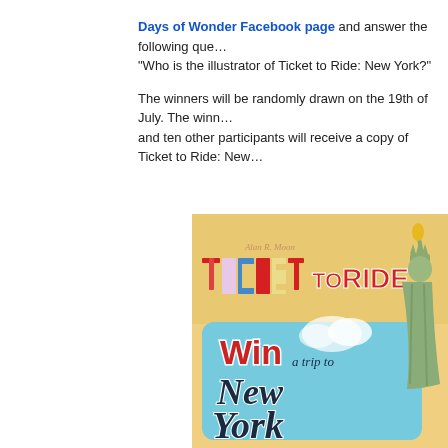Days of Wonder Facebook page and answer the following question: "Who is the illustrator of Ticket to Ride: New York?"
The winners will be randomly drawn on the 19th of July. The winners and ten other participants will receive a copy of Ticket to Ride: New...
[Figure (illustration): Ticket to Ride: New York board game box art showing 'Win a trip to New York' promotional image with Statue of Liberty illustration, vintage travel poster style with red and dark blue lettering on a light blue background.]